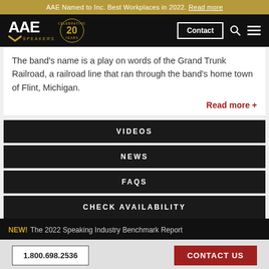AAE Named to Inc. Best Workplaces in 2022. Read more
[Figure (logo): AAE Speakers logo with Celebrating 20 Years badge on black navigation bar with Contact button, search icon, and menu icon]
The band's name is a play on words of the Grand Trunk Railroad, a railroad line that ran through the band's home town of Flint, Michigan.
Read more +
VIDEOS
NEWS
FAQS
CHECK AVAILABILITY
NEW! The 2022 Speaking Industry Benchmark Report
1.800.698.2536   CONTACT US